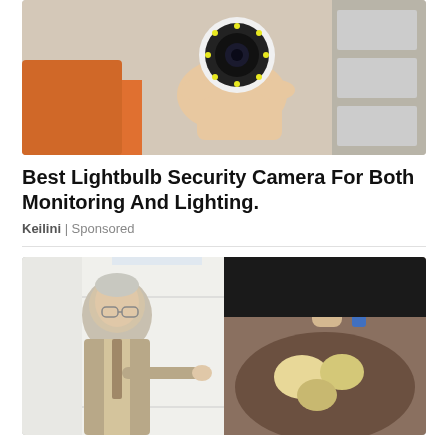[Figure (photo): A hand holding a small white lightbulb security camera with LED ring]
Best Lightbulb Security Camera For Both Monitoring And Lighting.
Keilini | Sponsored
[Figure (photo): Split image: left side shows an older man in a suit pointing at something; right side shows hands examining what appears to be dental molds or fossils in sand]